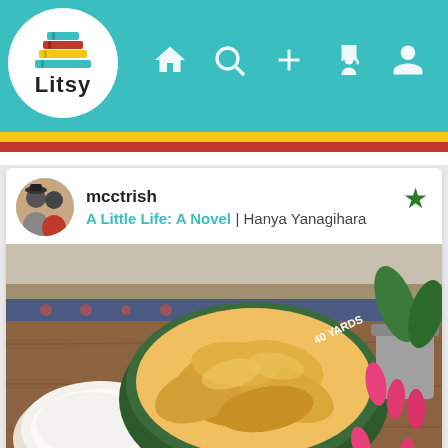[Figure (screenshot): Litsy app screenshot showing the app logo with stacked colored books and 'Litsy' text in a white circle, with a teal navigation bar containing home, search, add, notification, and profile icons, followed by yellow, red, and white color stripes]
mcctrish
A Little Life: A Novel | Hanya Yanagihara
[Figure (photo): Photo of a green bowl labeled '40 YARDS' filled with potato chips, next to a white bowl of cream dip, and a potted plant with pink flowers in the background, on a wooden surface]